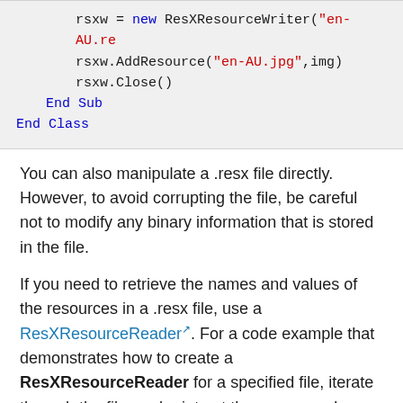[Figure (screenshot): Code block showing VB.NET code: rsxw = new ResXResourceWriter("en-AU.res..."), rsxw.AddResource("en-AU.jpg",img), rsxw.Close(), End Sub, End Class]
You can also manipulate a .resx file directly. However, to avoid corrupting the file, be careful not to modify any binary information that is stored in the file.
If you need to retrieve the names and values of the resources in a .resx file, use a ResXResourceReader. For a code example that demonstrates how to create a ResXResourceReader for a specified file, iterate through the file, and print out the names and values of resources, see the ResXResourceReader Class.
You cannot embed a .resx file in a runtime executable or compile it into a satellite assembly. You must convert your